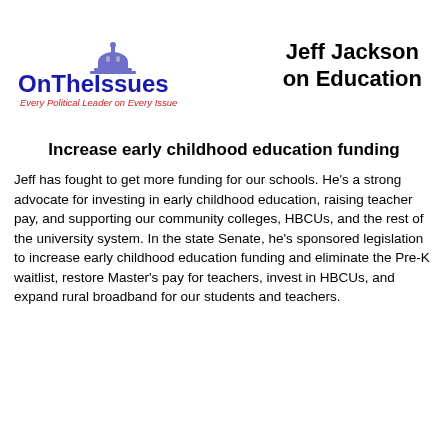[Figure (logo): OnTheIssues logo with capitol dome icon, blue text 'OnTheIssues' and red tagline 'Every Political Leader on Every Issue']
Jeff Jackson on Education
Increase early childhood education funding
Jeff has fought to get more funding for our schools. He's a strong advocate for investing in early childhood education, raising teacher pay, and supporting our community colleges, HBCUs, and the rest of the university system. In the state Senate, he's sponsored legislation to increase early childhood education funding and eliminate the Pre-K waitlist, restore Master's pay for teachers, invest in HBCUs, and expand rural broadband for our students and teachers.